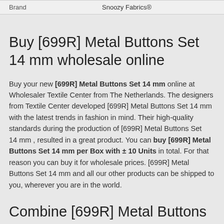| Brand | Snoozy Fabrics® |
Buy [699R] Metal Buttons Set 14 mm wholesale online
Buy your new [699R] Metal Buttons Set 14 mm online at Wholesaler Textile Center from The Netherlands. The designers from Textile Center developed [699R] Metal Buttons Set 14 mm with the latest trends in fashion in mind. Their high-quality standards during the production of [699R] Metal Buttons Set 14 mm , resulted in a great product. You can buy [699R] Metal Buttons Set 14 mm per Box with ± 10 Units in total. For that reason you can buy it for wholesale prices. [699R] Metal Buttons Set 14 mm and all our other products can be shipped to you, wherever you are in the world.
Combine [699R] Metal Buttons Set 14 mm